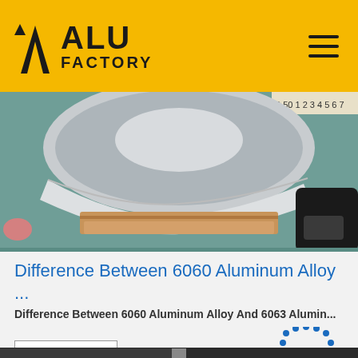ALU FACTORY
[Figure (photo): Photo of aluminum alloy sheet/strip being measured, showing curved silver metal on cardboard on a workbench, person's hand visible in black sleeve]
Difference Between 6060 Aluminum Alloy ...
Difference Between 6060 Aluminum Alloy And 6063 Alumin...
[Figure (other): Get Price button and TOP navigation badge]
[Figure (photo): Partial bottom photo showing industrial/warehouse aluminum products, partially visible at page bottom]